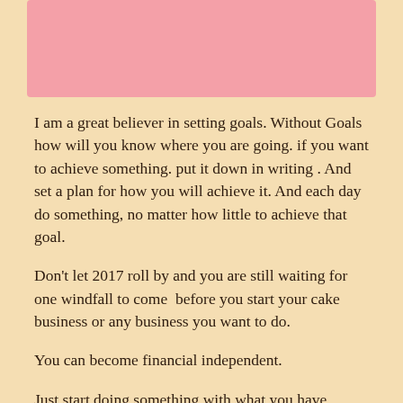[Figure (other): Pink rectangular banner/header bar at the top of the page]
I am a great believer in setting goals. Without Goals how will you know where you are going. if you want to achieve something. put it down in writing . And set a plan for how you will achieve it. And each day do something, no matter how little to achieve that goal.
Don't let 2017 roll by and you are still waiting for one windfall to come  before you start your cake business or any business you want to do.
You can become financial independent.
Just start doing something with what you have.
Just Start.